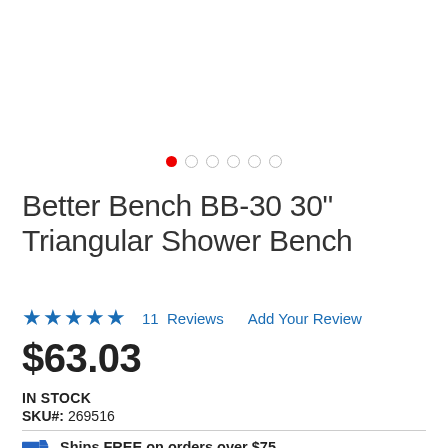[Figure (other): Image carousel dot indicators: one filled red dot followed by five empty/outline circle dots]
Better Bench BB-30 30" Triangular Shower Bench
★★★★★  11 Reviews  Add Your Review
$63.03
IN STOCK
SKU#: 269516
Ships FREE on orders over $75